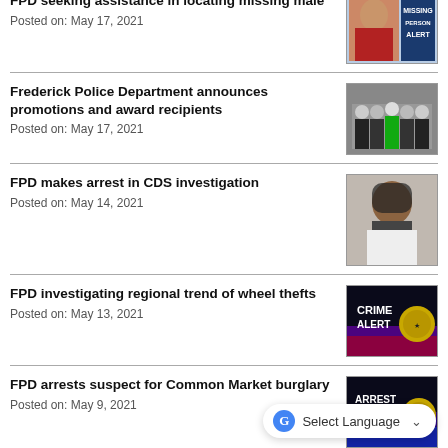FPD seeking assistance in locating missing male
Posted on: May 17, 2021
[Figure (photo): Missing Person Alert image with woman's photo]
Frederick Police Department announces promotions and award recipients
Posted on: May 17, 2021
[Figure (photo): Group photo of police officers]
FPD makes arrest in CDS investigation
Posted on: May 14, 2021
[Figure (photo): Mugshot of suspect]
FPD investigating regional trend of wheel thefts
Posted on: May 13, 2021
[Figure (photo): Crime Alert graphic with badge]
FPD arrests suspect for Common Market burglary
Posted on: May 9, 2021
[Figure (photo): Arrest Alert graphic with badge]
FPD seeking assistance locating missing
[Figure (photo): Missing alert image (partial)]
Select Language